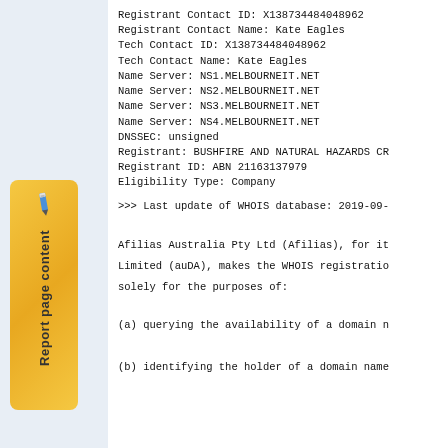[Figure (illustration): Orange/yellow gradient tab with pencil icon and vertical text reading 'Report page content']
Registrant Contact ID: X138734484048962
Registrant Contact Name: Kate Eagles
Tech Contact ID: X138734484048962
Tech Contact Name: Kate Eagles
Name Server: NS1.MELBOURNEIT.NET
Name Server: NS2.MELBOURNEIT.NET
Name Server: NS3.MELBOURNEIT.NET
Name Server: NS4.MELBOURNEIT.NET
DNSSEC: unsigned
Registrant: BUSHFIRE AND NATURAL HAZARDS CR
Registrant ID: ABN 21163137979
Eligibility Type: Company

>>> Last update of WHOIS database: 2019-09-
Afilias Australia Pty Ltd (Afilias), for it
Limited (auDA), makes the WHOIS registration
solely for the purposes of:
(a) querying the availability of a domain n
(b) identifying the holder of a domain name